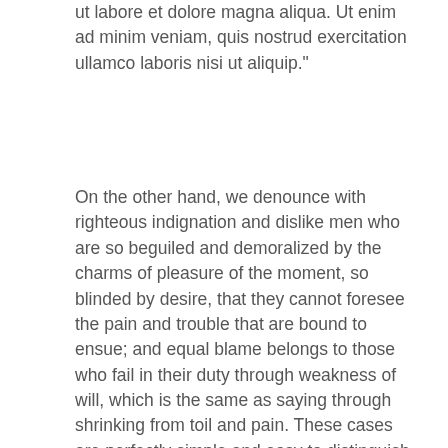ut labore et dolore magna aliqua. Ut enim ad minim veniam, quis nostrud exercitation ullamco laboris nisi ut aliquip."
On the other hand, we denounce with righteous indignation and dislike men who are so beguiled and demoralized by the charms of pleasure of the moment, so blinded by desire, that they cannot foresee the pain and trouble that are bound to ensue; and equal blame belongs to those who fail in their duty through weakness of will, which is the same as saying through shrinking from toil and pain. These cases are perfectly simple and easy to distinguish. In a free hour, when our power of